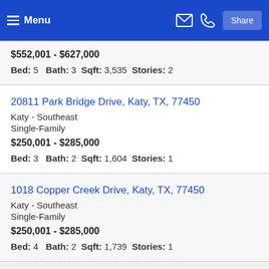Menu | Share
$552,001 - $627,000
Bed: 5   Bath: 3   Sqft: 3,535   Stories: 2
20811 Park Bridge Drive, Katy, TX, 77450
Katy - Southeast
Single-Family
$250,001 - $285,000
Bed: 3   Bath: 2   Sqft: 1,604   Stories: 1
1018 Copper Creek Drive, Katy, TX, 77450
Katy - Southeast
Single-Family
$250,001 - $285,000
Bed: 4   Bath: 2   Sqft: 1,739   Stories: 1